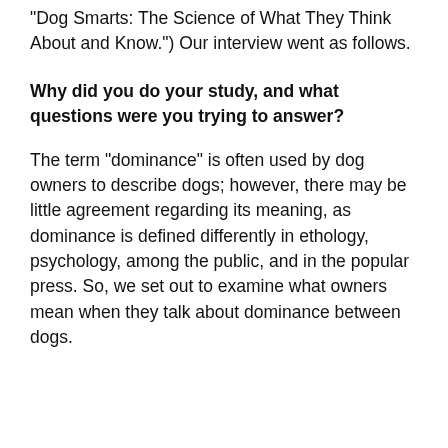“Dog Smarts: The Science of What They Think About and Know.”) Our interview went as follows.
Why did you do your study, and what questions were you trying to answer?
The term “dominance” is often used by dog owners to describe dogs; however, there may be little agreement regarding its meaning, as dominance is defined differently in ethology, psychology, among the public, and in the popular press. So, we set out to examine what owners mean when they talk about dominance between dogs.